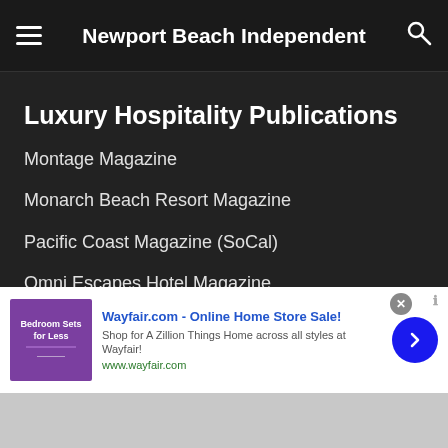Newport Beach Independent
Luxury Hospitality Publications
Montage Magazine
Monarch Beach Resort Magazine
Pacific Coast Magazine (SoCal)
Omni Escapes Hotel Magazine
View our entire portfolio here
[Figure (screenshot): Wayfair.com advertisement banner with purple bedroom image, blue arrow button, and text: Wayfair.com - Online Home Store Sale! Shop for A Zillion Things Home across all styles at Wayfair! www.wayfair.com]